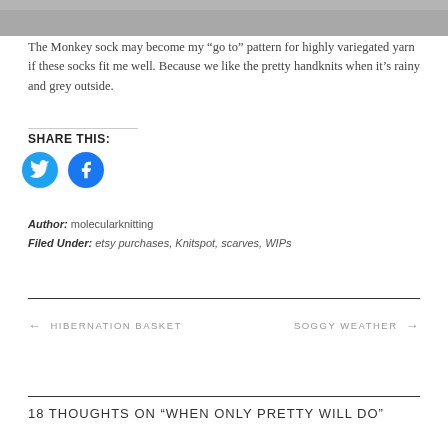[Figure (photo): Top portion of a photo, gray tones, partial view of an object]
The Monkey sock may become my “go to” pattern for highly variegated yarn if these socks fit me well. Because we like the pretty handknits when it’s rainy and grey outside.
SHARE THIS:
[Figure (logo): Twitter bird icon (white on blue circle) and Facebook f icon (white on blue circle)]
Author: molecularknitting
Filed Under: etsy purchases, Knitspot, scarves, WIPs
←  HIBERNATION BASKET
SOGGY WEATHER  →
18 THOUGHTS ON “WHEN ONLY PRETTY WILL DO”